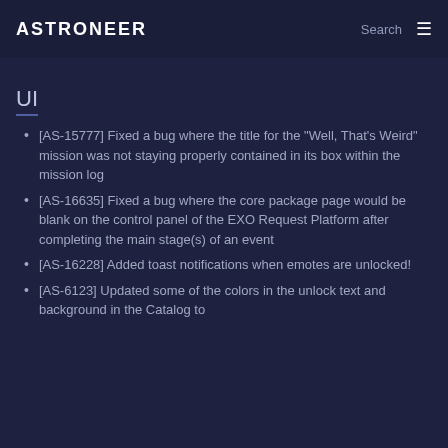ASTRONEER  Search ≡
UI
[AS-15777] Fixed a bug where the title for the "Well, That's Weird" mission was not staying properly contained in its box within the mission log
[AS-16635] Fixed a bug where the core package page would be blank on the control panel of the EXO Request Platform after completing the main stage(s) of an event
[AS-16228] Added toast notifications when emotes are unlocked!
[AS-6123] Updated some of the colors in the unlock text and background in the Catalog to